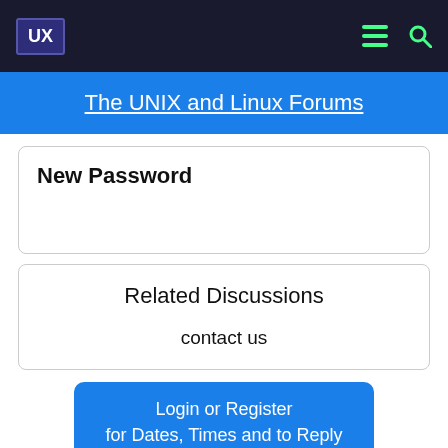UX  [menu icon]  [search icon]
The UNIX and Linux Forums
New Password
Related Discussions
contact us
Login or Register for Dates, Times and to Reply
8 More Discussions You Might Find Interesting